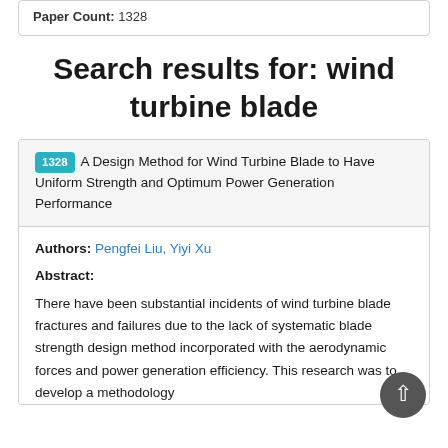Paper Count: 1328
Search results for: wind turbine blade
1328 A Design Method for Wind Turbine Blade to Have Uniform Strength and Optimum Power Generation Performance
Authors: Pengfei Liu, Yiyi Xu
Abstract:
There have been substantial incidents of wind turbine blade fractures and failures due to the lack of systematic blade strength design method incorporated with the aerodynamic forces and power generation efficiency. This research was to develop a methodology